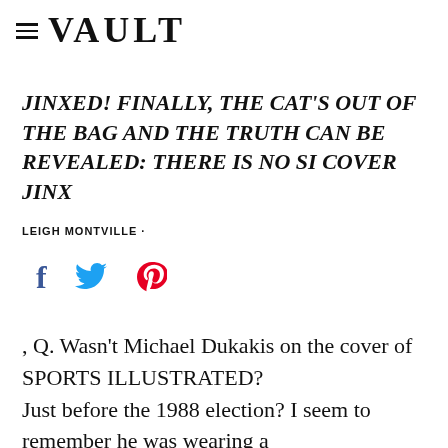VAULT
JINXED! FINALLY, THE CAT'S OUT OF THE BAG AND THE TRUTH CAN BE REVEALED: THERE IS NO SI COVER JINX
LEIGH MONTVILLE ·
[Figure (infographic): Social share icons: Facebook (f), Twitter (bird), Pinterest (P)]
, Q. Wasn't Michael Dukakis on the cover of SPORTS ILLUSTRATED? Just before the 1988 election? I seem to remember he was wearing a Boston Red Sox cap and was posed against the